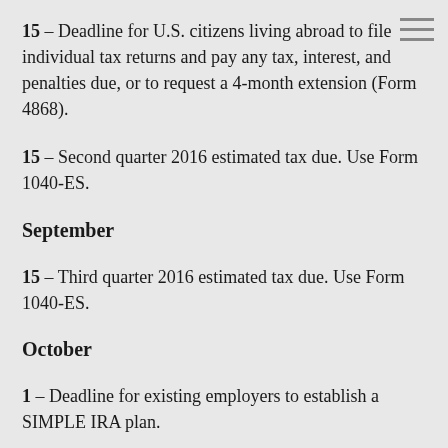15 – Deadline for U.S. citizens living abroad to file individual tax returns and pay any tax, interest, and penalties due, or to request a 4-month extension (Form 4868).
15 – Second quarter 2016 estimated tax due. Use Form 1040-ES.
September
15 – Third quarter 2016 estimated tax due. Use Form 1040-ES.
October
1 – Deadline for existing employers to establish a SIMPLE IRA plan.